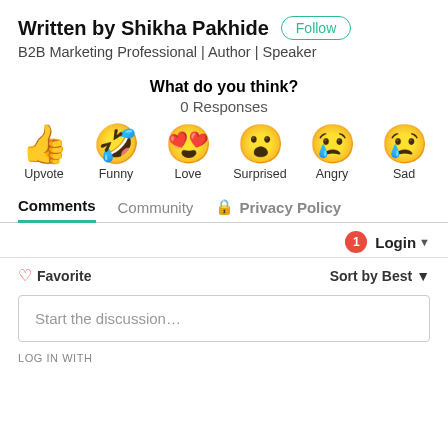Written by Shikha Pakhide
B2B Marketing Professional | Author | Speaker
What do you think?
0 Responses
[Figure (infographic): Six emoji reaction buttons: Upvote (thumbs up), Funny (laughing face with tongue), Love (heart eyes), Surprised (wow face), Angry (crying/angry face), Sad (sad face with tear)]
Comments  Community  🔒 Privacy Policy
1  Login ▾
♡ Favorite  Sort by Best ▾
Start the discussion…
LOG IN WITH